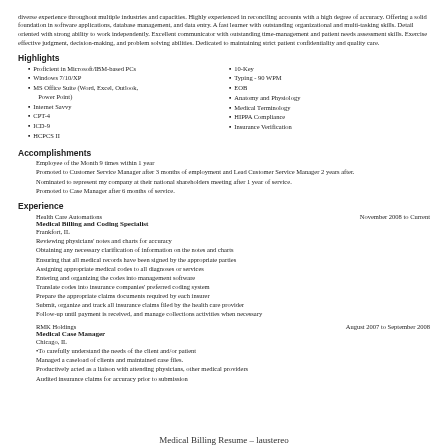diverse experience throughout multiple industries and capacities. Highly experienced in reconciling accounts with a high degree of accuracy. Offering a solid foundation in software applications, database management, and data entry. A fast learner with outstanding organizational and multi-tasking skills. Detail oriented with strong ability to work independently. Excellent communicator with outstanding time-management and patient needs assessment skills. Exercise effective judgment, decision-making, and problem solving abilities. Dedicated to maintaining strict patient confidentiality and quality care.
Highlights
Proficient in Microsoft/IBM-based PCs
Windows 7/10/XP
MS Office Suite (Word, Excel, Outlook, Power Point)
Internet Savvy
CPT-4
ICD-9
HCPCS II
10-Key
Typing - 90 WPM
EOB
Anatomy and Physiology
Medical Terminology
HIPPA Compliance
Insurance Verification
Accomplishments
Employee of the Month 9 times within 1 year
Promoted to Customer Service Manager after 3 months of employment and Lead Customer Service Manager 2 years after.
Nominated to represent my company at their national shareholders meeting after 1 year of service.
Promoted to Case Manager after 6 months of service.
Experience
Health Care Automations — November 2008 to Current
Medical Billing and Coding Specialist
Frankfort, IL
Reviewing physicians' notes and charts for accuracy
Obtaining any necessary clarification of information on the notes and charts
Ensuring that all medical records have been signed by the appropriate parties
Assigning appropriate medical codes to all diagnoses or services
Entering and organizing the codes into management software
Translate codes into insurance companies' preferred coding system
Prepare the appropriate claims documents required by each insurer
Submit, organize and track all insurance claims filed by the health care provider
Follow-up until payment is received, and manage collections activities when necessary
RMK Holdings — August 2007 to September 2008
Medical Case Manager
Chicago, IL
•To carefully understand the needs of the client and/or patient
Managed a caseload of clients and maintained case files.
Productively acted as a liaison with attending physicians, other medical providers
Audited insurance claims for accuracy prior to submission
Medical Billing Resume – laustereo